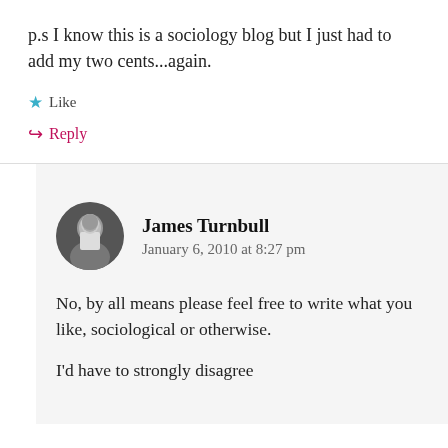p.s I know this is a sociology blog but I just had to add my two cents...again.
Like
Reply
James Turnbull
January 6, 2010 at 8:27 pm
No, by all means please feel free to write what you like, sociological or otherwise.
I'd have to strongly disagree